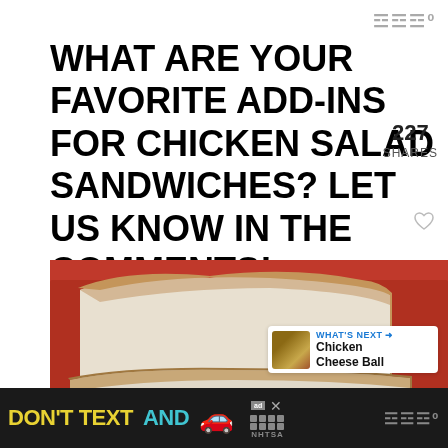WWº
WHAT ARE YOUR FAVORITE ADD-INS FOR CHICKEN SALAD SANDWICHES? LET US KNOW IN THE COMMENTS!
227 SHARES
[Figure (photo): Two slices of white bread on a red cutting board, with chicken salad spread visible]
f
237
WHAT'S NEXT → Chicken Cheese Ball
[Figure (infographic): DON'T TEXT AND [car emoji] ad banner with NHTSA logo]